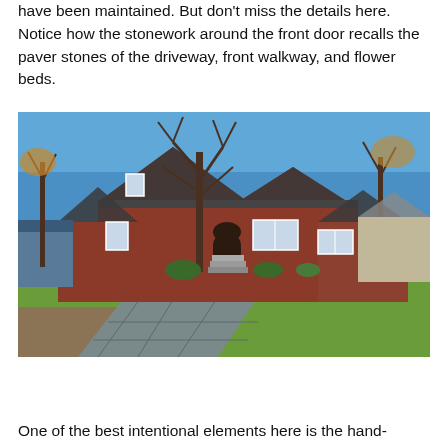have been maintained. But don't miss the details here. Notice how the stonework around the front door recalls the paver stones of the driveway, front walkway, and flower beds.
[Figure (photo): Exterior photo of a red brick Tudor-style house with steep gabled rooflines, arched front door, white-trimmed windows, bare trees in front, green lawn, and a stone paver walkway/driveway in the foreground. Blue sky visible in the background.]
One of the best intentional elements here is the hand-